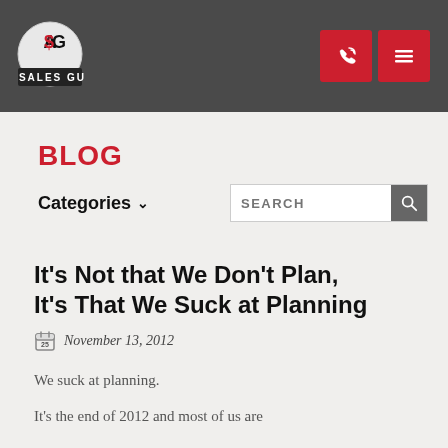A Sales Guy — Blog header with logo and navigation icons
BLOG
Categories ▾   SEARCH
It's Not that We Don't Plan, It's That We Suck at Planning
November 13, 2012
We suck at planning.
It's the end of 2012 and most of us are